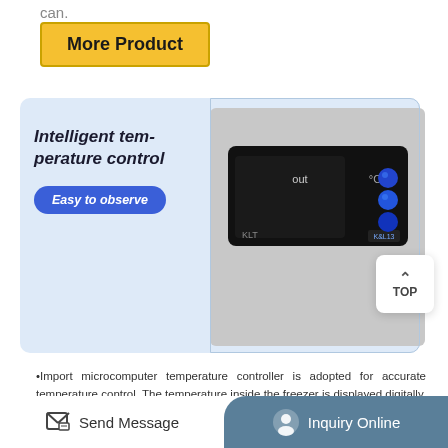can.
More Product
[Figure (infographic): Product card with blue background showing an intelligent temperature controller device. Left side has italic bold text 'Intelligent temperature control' and a blue button 'Easy to observe'. Right side shows a photo of a digital temperature controller panel with KLT label, displaying 'out' and '°C' on a black screen with blue buttons.]
TOP
•Import microcomputer temperature controller is adopted for accurate temperature control. The temperature inside the freezer is displayed digitally. With elegant appearance, the freezer can be used conveniently. Users can regulate and check the inside temperature
Send Message
Inquiry Online